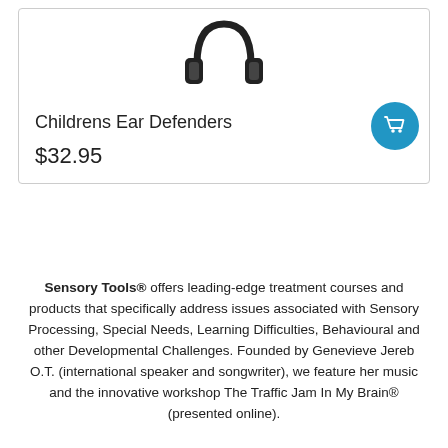[Figure (photo): Black over-ear headphones / ear defenders product image shown from above]
Childrens Ear Defenders
$32.95
[Figure (other): Blue circular shopping cart button icon]
Sensory Tools® offers leading-edge treatment courses and products that specifically address issues associated with Sensory Processing, Special Needs, Learning Difficulties, Behavioural and other Developmental Challenges. Founded by Genevieve Jereb O.T. (international speaker and songwriter), we feature her music and the innovative workshop The Traffic Jam In My Brain® (presented online).